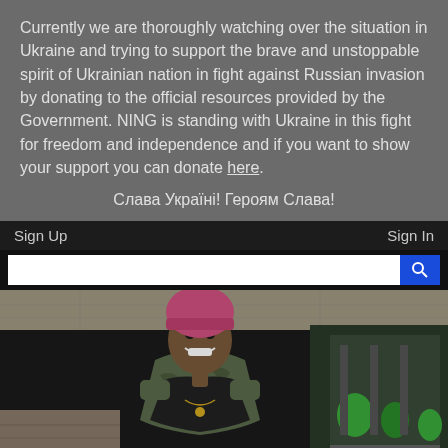Currently we are thoroughly watching over the situation in Ukraine and trying to support the brave and unstoppable spirit of Ukrainian nation in fight against Russian invasion by donating to the official resources provided by the Government. NING is standing with Ukraine in this fight for freedom and independence and if you want to show your support you can donate here. Слава Україні! Героям Слава!
Sign Up
Sign In
[Figure (photo): Photo of a young man smiling, wearing a pink beanie hat, camouflage jacket, black hoodie, and gold chain necklace, standing in front of a car near a building with green bushes at night]